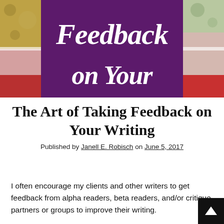[Figure (illustration): Banner image with purple background and the text 'Feedback on Your' in white script font, flanked by colorful painted texture panels on left and right sides (gold, pink, red on left; green, pink, red on right).]
The Art of Taking Feedback on Your Writing
Published by Janell E. Robisch on June 5, 2017
I often encourage my clients and other writers to get feedback from alpha readers, beta readers, and/or critique partners or groups to improve their writing.